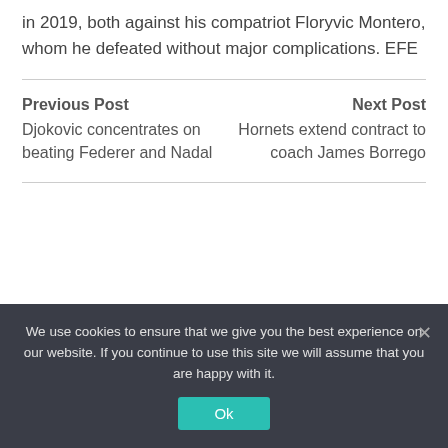in 2019, both against his compatriot Floryvic Montero, whom he defeated without major complications. EFE
Previous Post
Djokovic concentrates on beating Federer and Nadal
Next Post
Hornets extend contract to coach James Borrego
We use cookies to ensure that we give you the best experience on our website. If you continue to use this site we will assume that you are happy with it.
Ok